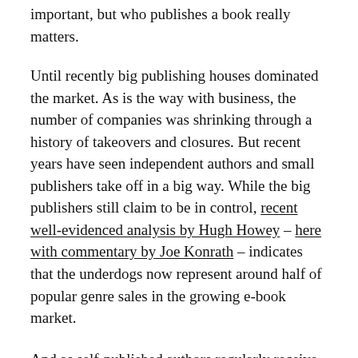important, but who publishes a book really matters.
Until recently big publishing houses dominated the market. As is the way with business, the number of companies was shrinking through a history of takeovers and closures. But recent years have seen independent authors and small publishers take off in a big way. While the big publishers still claim to be in control, recent well-evidenced analysis by Hugh Howey – here with commentary by Joe Konrath – indicates that the underdogs now represent around half of popular genre sales in the growing e-book market.
And as self-published authors regularly receive 70% of the price of their e-book, as opposed to maybe 12% when going through a big publisher, that's big news for the writers in question.